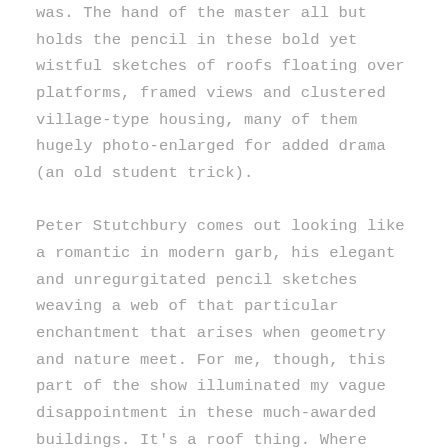was. The hand of the master all but holds the pencil in these bold yet wistful sketches of roofs floating over platforms, framed views and clustered village-type housing, many of them hugely photo-enlarged for added drama (an old student trick).

Peter Stutchbury comes out looking like a romantic in modern garb, his elegant and unregurgitated pencil sketches weaving a web of that particular enchantment that arises when geometry and nature meet. For me, though, this part of the show illuminated my vague disappointment in these much-awarded buildings. It's a roof thing. Where Stutchbury's plans and sections typically offer a sweet fusion of romance and discipline, his roofs tend to a monovalent heroism, as though the